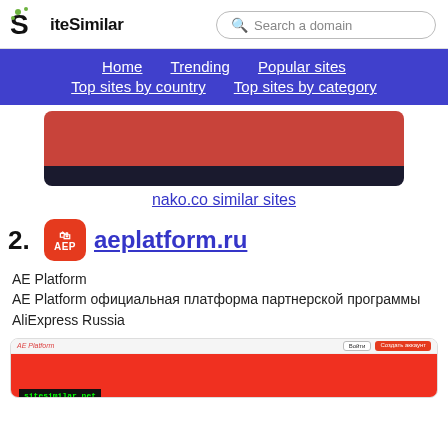[Figure (screenshot): SiteSimilar website header with logo and search bar]
[Figure (screenshot): Navigation bar with Home, Trending, Popular sites, Top sites by country, Top sites by category links on purple background]
[Figure (screenshot): Preview image of nako.co website with red and dark sections]
nako.co similar sites
2. aeplatform.ru
AE Platform
AE Platform официальная платформа партнерской программы AliExpress Russia
[Figure (screenshot): Preview thumbnail of aeplatform.ru website showing AE Platform header with red background and sitesimilar.net watermark]